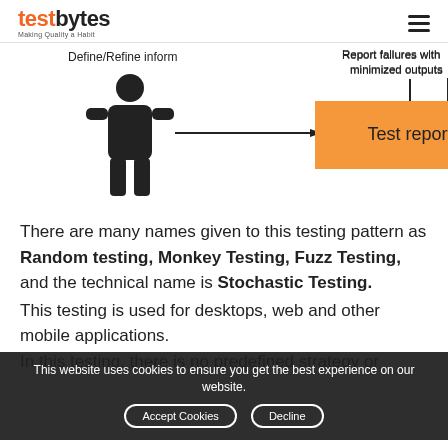testbytes — Making Quality a Habit
[Figure (flowchart): Diagram showing a person figure on the left with 'Define/Refine inform' label above, connected by a horizontal arrow to an orange rectangle labeled 'Test report'. Above the orange box, a vertical line connects downward with label 'Report failures with minimized outputs'.]
There are many names given to this testing pattern as Random testing, Monkey Testing, Fuzz Testing, and the technical name is Stochastic Testing.
This testing is used for desktops, web and other mobile applications.
In this testing, there is no predefined strategy or
This website uses cookies to ensure you get the best experience on our website.